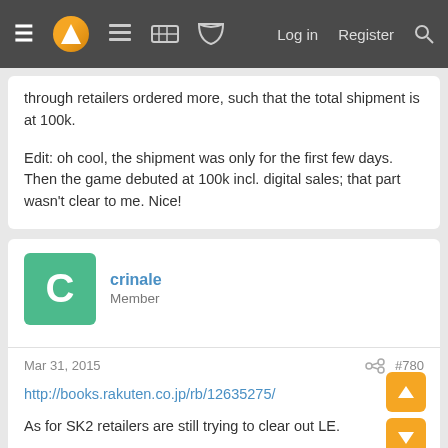Navigation bar with menu, logo, game controller, grid, chat icons, and Log in / Register / Search links
through retailers ordered more, such that the total shipment is at 100k.
Edit: oh cool, the shipment was only for the first few days. Then the game debuted at 100k incl. digital sales; that part wasn't clear to me. Nice!
crinale
Member
Mar 31, 2015
#780
http://books.rakuten.co.jp/rb/12635275/
As for SK2 retailers are still trying to clear out LE.